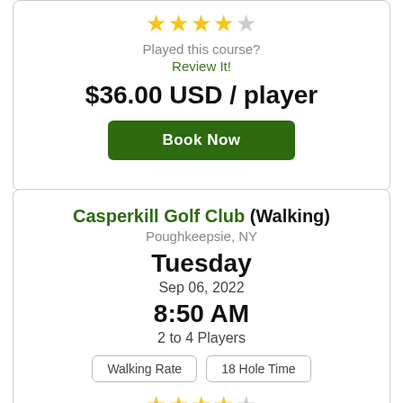[Figure (other): 4 out of 5 star rating shown with gold and grey stars]
Played this course?
Review It!
$36.00 USD / player
Book Now
Casperkill Golf Club (Walking)
Poughkeepsie, NY
Tuesday
Sep 06, 2022
8:50 AM
2 to 4 Players
Walking Rate
18 Hole Time
[Figure (other): 4 out of 5 star rating shown with gold and grey stars]